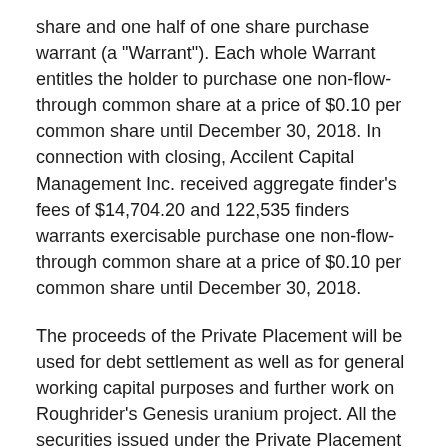share and one half of one share purchase warrant (a "Warrant"). Each whole Warrant entitles the holder to purchase one non-flow-through common share at a price of $0.10 per common share until December 30, 2018. In connection with closing, Accilent Capital Management Inc. received aggregate finder's fees of $14,704.20 and 122,535 finders warrants exercisable purchase one non-flow-through common share at a price of $0.10 per common share until December 30, 2018.
The proceeds of the Private Placement will be used for debt settlement as well as for general working capital purposes and further work on Roughrider's Genesis uranium project. All the securities issued under the Private Placement are subject to a hold period expiring four months and one day from the date of issuance.
Scott Gibson, the President of the Company acquired,